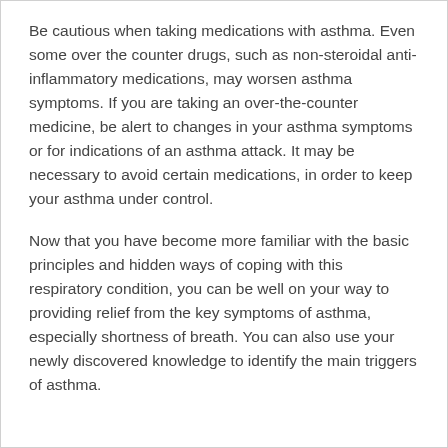Be cautious when taking medications with asthma. Even some over the counter drugs, such as non-steroidal anti-inflammatory medications, may worsen asthma symptoms. If you are taking an over-the-counter medicine, be alert to changes in your asthma symptoms or for indications of an asthma attack. It may be necessary to avoid certain medications, in order to keep your asthma under control.
Now that you have become more familiar with the basic principles and hidden ways of coping with this respiratory condition, you can be well on your way to providing relief from the key symptoms of asthma, especially shortness of breath. You can also use your newly discovered knowledge to identify the main triggers of asthma.